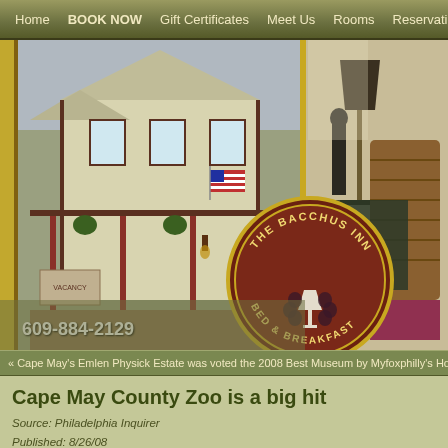Home | BOOK NOW | Gift Certificates | Meet Us | Rooms | Reservations | Testimon...
[Figure (photo): Collage of The Bacchus Inn Bed & Breakfast: exterior photo of Victorian house with porch, American flag, hanging plants, and a circular logo sign; right side shows interior wicker furniture and lamp.]
609-884-2129
« Cape May's Emlen Physick Estate was voted the 2008 Best Museum by Myfoxphilly's Hotlist: Jerse...
Cape May County Zoo is a big hit
Source: Philadelphia Inquirer
Published: 8/26/08
Written By: Jacqueline L. Urgo